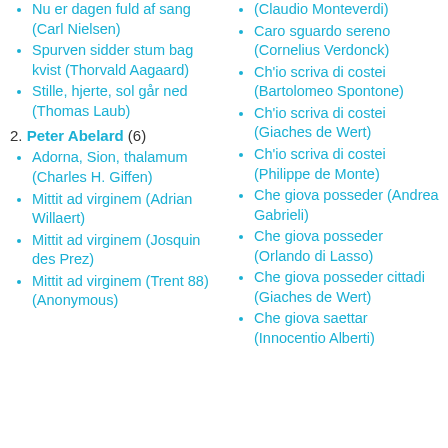Nu er dagen fuld af sang (Carl Nielsen)
Spurven sidder stum bag kvist (Thorvald Aagaard)
Stille, hjerte, sol går ned (Thomas Laub)
2. Peter Abelard (6)
Adorna, Sion, thalamum (Charles H. Giffen)
Mittit ad virginem (Adrian Willaert)
Mittit ad virginem (Josquin des Prez)
Mittit ad virginem (Trent 88) (Anonymous)
(Claudio Monteverdi)
Caro sguardo sereno (Cornelius Verdonck)
Ch'io scriva di costei (Bartolomeo Spontone)
Ch'io scriva di costei (Giaches de Wert)
Ch'io scriva di costei (Philippe de Monte)
Che giova posseder (Andrea Gabrieli)
Che giova posseder (Orlando di Lasso)
Che giova posseder cittadi (Giaches de Wert)
Che giova saettar (Innocentio Alberti)